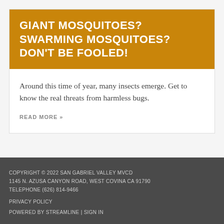GIANT MOSQUITOES? SWARMING MOSQUITOES? DON'T BE FOOLED!
Around this time of year, many insects emerge. Get to know the real threats from harmless bugs.
READ MORE »
COPYRIGHT © 2022 SAN GABRIEL VALLEY MVCD
1145 N. AZUSA CANYON ROAD, WEST COVINA CA 91790
TELEPHONE (626) 814-9466

PRIVACY POLICY

POWERED BY STREAMLINE | SIGN IN